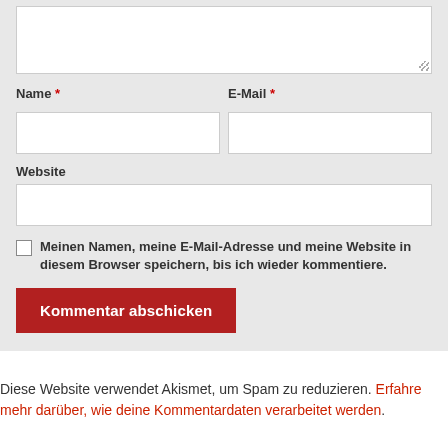Name * | E-Mail *
Website
Meinen Namen, meine E-Mail-Adresse und meine Website in diesem Browser speichern, bis ich wieder kommentiere.
Kommentar abschicken
Diese Website verwendet Akismet, um Spam zu reduzieren. Erfahre mehr darüber, wie deine Kommentardaten verarbeitet werden.